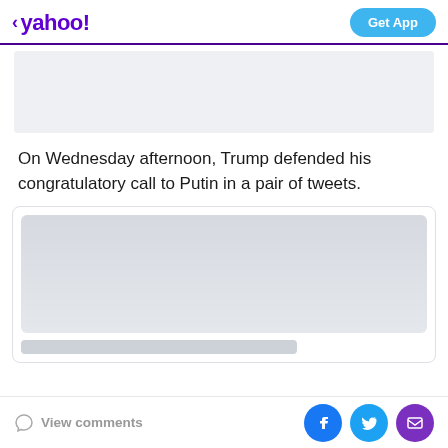< yahoo! | Get App
[Figure (other): Advertisement placeholder — light grey rectangle]
On Wednesday afternoon, Trump defended his congratulatory call to Putin in a pair of tweets.
[Figure (screenshot): Embedded tweet placeholder — grey image area with a loading bar below]
View comments | Facebook, Twitter, Email share icons